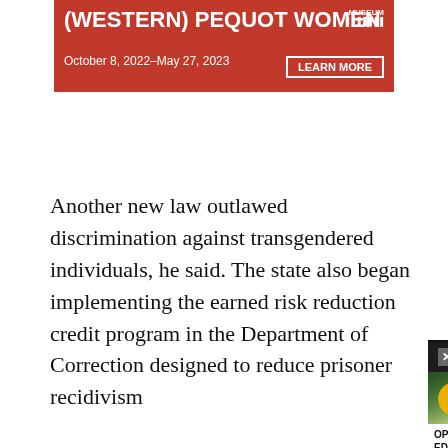[Figure (illustration): Red banner advertisement for a museum exhibit about (Western) Pequot Women, October 8, 2022 – May 27, 2023, with a Learn More button]
Another new law outlawed discrimination against transgendered individuals, he said. The state also began implementing the earned risk reduction credit program in the Department of Correction designed to reduce prisoner recidivism
He concluded his by signing an executive order that would require child care workers and personal care attendants to uni
[Figure (screenshot): Video popup overlay for OP-ED | Rail With Trail In Connecticut, Long Overdue | CT News Junkie, showing a road through trees with a mute button]